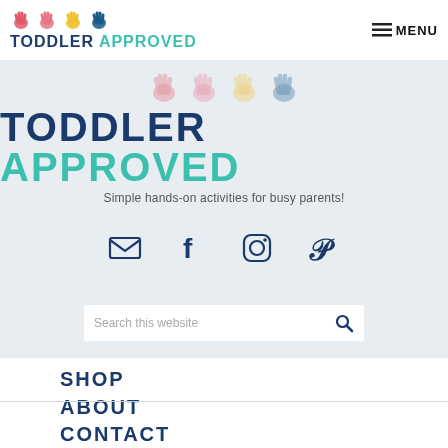[Figure (logo): Toddler Approved logo with colorful handprint icons and bold text]
MENU
[Figure (logo): Large Toddler Approved banner logo with handprint icons, tagline: Simple hands-on activities for busy parents!]
Simple hands-on activities for busy parents!
[Figure (infographic): Social media icons: email, Facebook, Instagram, Pinterest]
Search this website
SHOP
ABOUT
CONTACT
DISCLOSURE